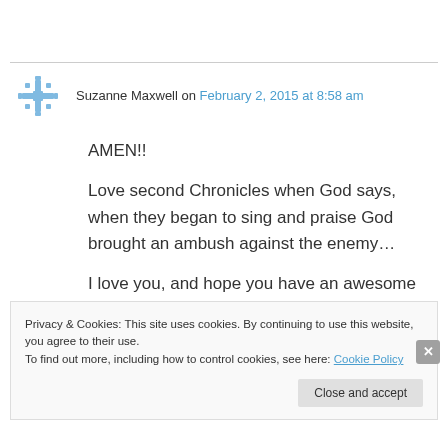Suzanne Maxwell on February 2, 2015 at 8:58 am
AMEN!!

Love second Chronicles when God says, when they began to sing and praise God brought an ambush against the enemy…

I love you, and hope you have an awesome February and a happy birthday on the 14th!
Privacy & Cookies: This site uses cookies. By continuing to use this website, you agree to their use.
To find out more, including how to control cookies, see here: Cookie Policy
Close and accept